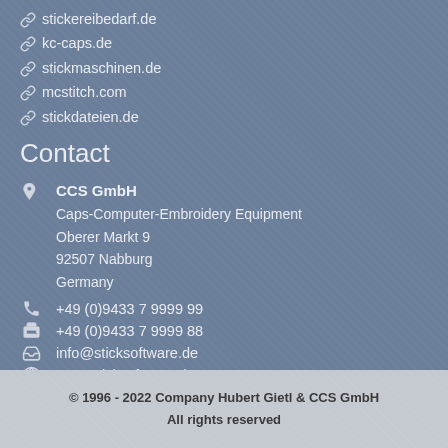stickereibedarf.de
kc-caps.de
stickmaschinen.de
mcstitch.com
stickdateien.de
Contact
CCS GmbH
Caps-Computer-Embroidery Equipment
Oberer Markt 9
92507 Nabburg
Germany
+49 (0)9433 7 9999 99
+49 (0)9433 7 9999 88
info@sticksoftware.de
www.sticksoftware.de
© 1996 - 2022 Company Hubert Gietl & CCS GmbH
All rights reserved